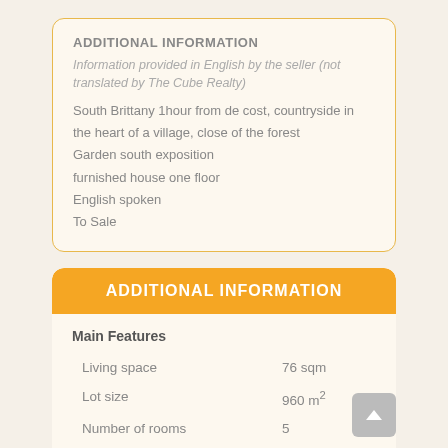ADDITIONAL INFORMATION
Information provided in English by the seller (not translated by The Cube Realty)
South Brittany 1hour from de cost, countryside in the heart of a village, close of the forest
Garden south exposition
furnished house one floor
English spoken
To Sale
ADDITIONAL INFORMATION
| Feature | Value |
| --- | --- |
| Main Features |  |
| Living space | 76 sqm |
| Lot size | 960 m² |
| Number of rooms | 5 |
| Garage | Yes |
| Outbuildings | 2 (total 75 sqm) |